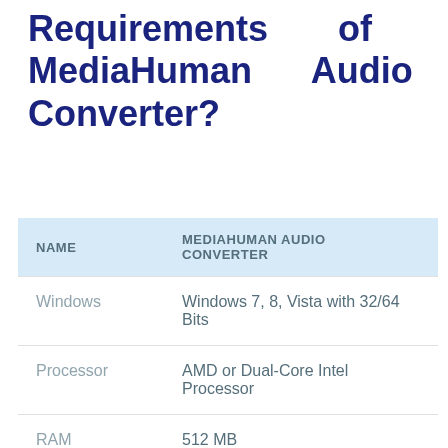Requirements of MediaHuman Audio Converter?
| NAME | MEDIAHUMAN AUDIO CONVERTER |
| --- | --- |
| Windows | Windows 7, 8, Vista with 32/64 Bits |
| Processor | AMD or Dual-Core Intel Processor |
| RAM | 512 MB |
| Hard Disk | 25 MB |